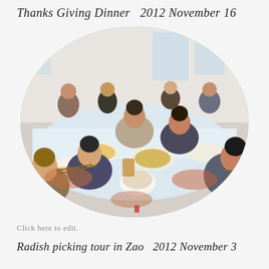Thanks Giving Dinner  2012 November 16
[Figure (photo): Group of people sitting around a long banquet table at a Thanksgiving dinner, with food and dishes spread across the table, set inside a room. The photo is cropped in an oval shape.]
Click here to edit.
Radish picking tour in Zao  2012 November 3